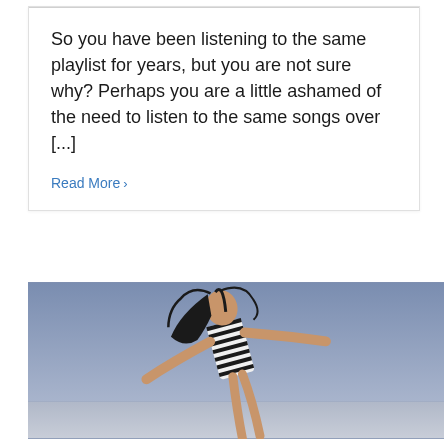So you have been listening to the same playlist for years, but you are not sure why? Perhaps you are a little ashamed of the need to listen to the same songs over [...]
Read More >
[Figure (photo): A woman in a black and white striped dress jumping or dancing outdoors against a blue-grey sky, with her long dark hair flowing and her arms spread wide.]